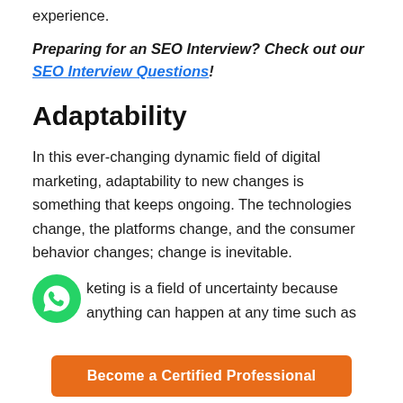experience.
Preparing for an SEO Interview? Check out our SEO Interview Questions!
Adaptability
In this ever-changing dynamic field of digital marketing, adaptability to new changes is something that keeps ongoing. The technologies change, the platforms change, and the consumer behavior changes; change is inevitable.
keting is a field of uncertainty because anything can happen at any time such as
[Figure (logo): WhatsApp circular green icon with white phone handset symbol]
Become a Certified Professional